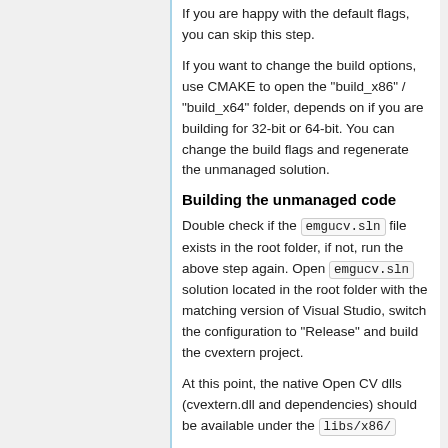If you are happy with the default flags, you can skip this step.
If you want to change the build options, use CMAKE to open the "build_x86" / "build_x64" folder, depends on if you are building for 32-bit or 64-bit. You can change the build flags and regenerate the unmanaged solution.
Building the unmanaged code
Double check if the emgucv.sln file exists in the root folder, if not, run the above step again. Open emgucv.sln solution located in the root folder with the matching version of Visual Studio, switch the configuration to "Release" and build the cvextern project.
At this point, the native Open CV dlls (cvextern.dll and dependencies) should be available under the libs/x86/